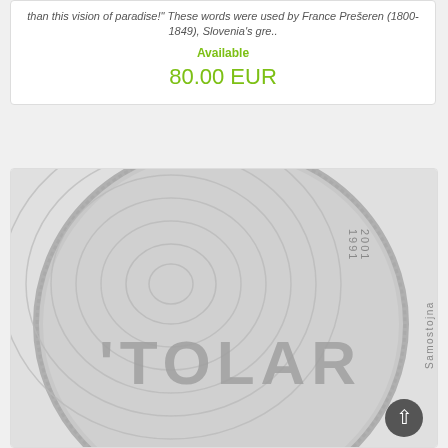than this vision of paradise!" These words were used by France Prešeren (1800-1849), Slovenia's gre..
Available
80.00 EUR
[Figure (photo): Silver coin showing 'TOLAR' inscription with concentric circle pattern, text 'Samostojna Slovenija' and dates 1991-2001]